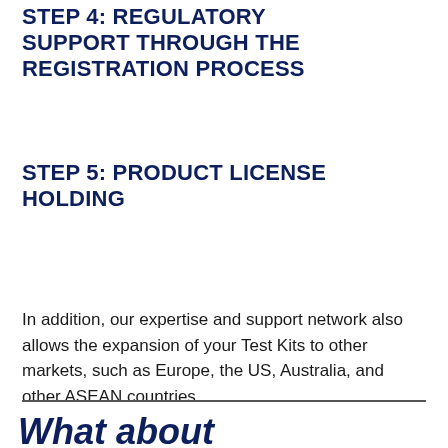STEP 4: REGULATORY SUPPORT THROUGH THE REGISTRATION PROCESS
STEP 5: PRODUCT LICENSE HOLDING
In addition, our expertise and support network also allows the expansion of your Test Kits to other markets, such as Europe, the US, Australia, and other ASEAN countries.
What about